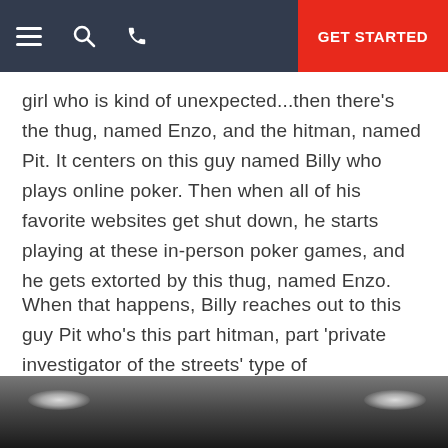GET STARTED
girl who is kind of unexpected...then there's the thug, named Enzo, and the hitman, named Pit. It centers on this guy named Billy who plays online poker. Then when all of his favorite websites get shut down, he starts playing at these in-person poker games, and he gets extorted by this thug, named Enzo.
When that happens, Billy reaches out to this guy Pit who's this part hitman, part 'private investigator of the streets' type of character...Billy deceives Pit into taking on his case, into helping him out, and that leads him into more hot water...I would say the underlying theme of the story is don't judge a book by its cover."
[Figure (photo): Black and white photo of an indoor scene with ceiling lights visible]